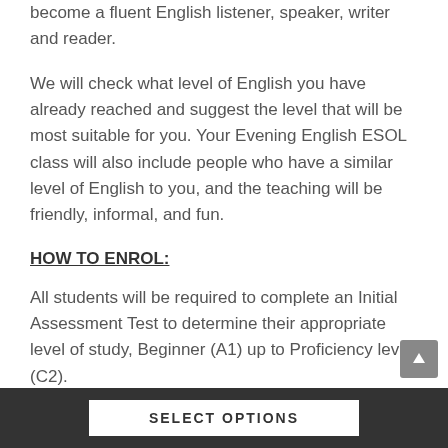become a fluent English listener, speaker, writer and reader.
We will check what level of English you have already reached and suggest the level that will be most suitable for you. Your Evening English ESOL class will also include people who have a similar level of English to you, and the teaching will be friendly, informal, and fun.
HOW TO ENROL:
All students will be required to complete an Initial Assessment Test to determine their appropriate level of study, Beginner (A1) up to Proficiency level (C2).
SELECT OPTIONS